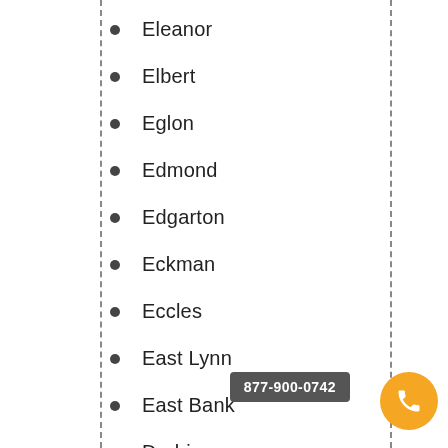Eleanor
Elbert
Eglon
Edmond
Edgarton
Eckman
Eccles
East Lynn
East Bank
Durbin
877-900-0742